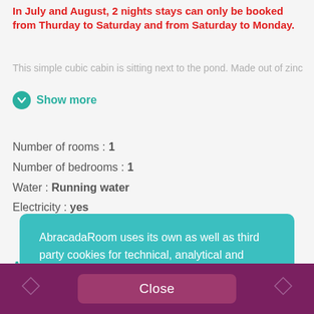In July and August, 2 nights stays can only be booked from Thurday to Saturday and from Saturday to Monday.
This simple cubic cabin is sitting next to the pond. Made out of zinc
Show more
Number of rooms : 1
Number of bedrooms : 1
Water : Running water
Electricity : yes
AMENITIES
AbracadaRoom uses its own as well as third party cookies for technical, analytical and marketing reasons. By continuing, you agree to our use of cookies. Learn More
Close